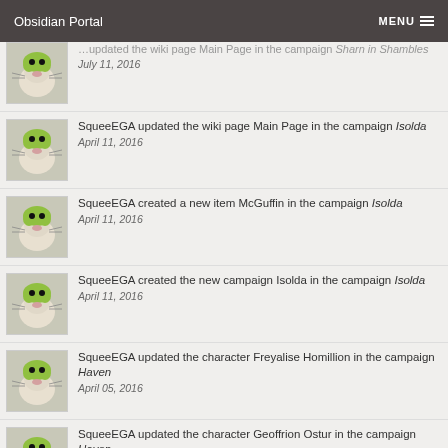Obsidian Portal  MENU
SqueeEGA updated the wiki page Main Page in the campaign Sharn in Shambles — July 11, 2016
SqueeEGA updated the wiki page Main Page in the campaign Isolda — April 11, 2016
SqueeEGA created a new item McGuffin in the campaign Isolda — April 11, 2016
SqueeEGA created the new campaign Isolda in the campaign Isolda — April 11, 2016
SqueeEGA updated the character Freyalise Homillion in the campaign Haven — April 05, 2016
SqueeEGA updated the character Geoffrion Ostur in the campaign Haven — March 21, 2016
SqueeEGA updated the character Gwynavere Ostur in the campaign Haven